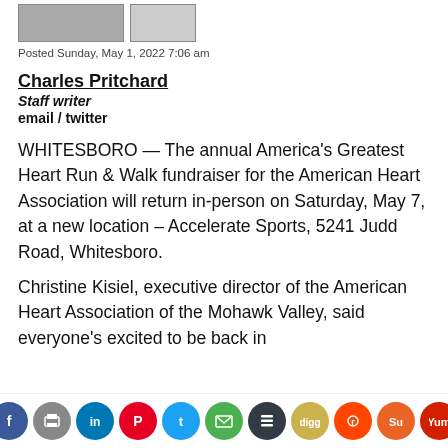[Figure (photo): Two thumbnail images at top of article]
Posted Sunday, May 1, 2022 7:06 am
Charles Pritchard
Staff writer
email / twitter
WHITESBORO — The annual America's Greatest Heart Run & Walk fundraiser for the American Heart Association will return in-person on Saturday, May 7, at a new location – Accelerate Sports, 5241 Judd Road, Whitesboro.
Christine Kisiel, executive director of the American Heart Association of the Mohawk Valley, said everyone's excited to be back in
[Figure (infographic): Social media sharing icon bar at the bottom: Facebook, Print, LinkedIn, Pinterest, Twitter, Email, Buffer, Digg, Reddit, StumbleUpon, Yummly]